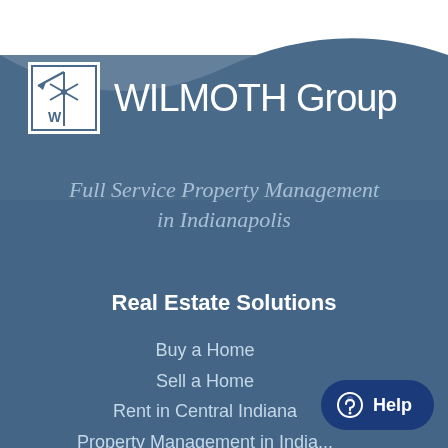[Figure (logo): WILMOTH Group logo with white compass/windmill icon on dark blue wave background]
Full Service Property Management in Indianapolis
Real Estate Solutions
Buy a Home
Sell a Home
Rent in Central Indiana
Property Management in India...